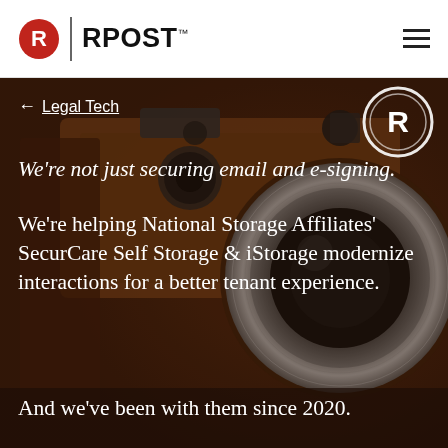[Figure (logo): RPost logo with red R circle, vertical divider bar, and bold RPOST text with trademark symbol]
[Figure (photo): Background photo of a vintage film camera with warm brown/amber tones]
← Legal Tech
[Figure (logo): RPost circular badge logo in white outline on dark background, top right of hero image]
We're not just securing email and e-signing.
We're helping National Storage Affiliates' SecurCare Self Storage & iStorage modernize interactions for a better tenant experience.
And we've been with them since 2020.